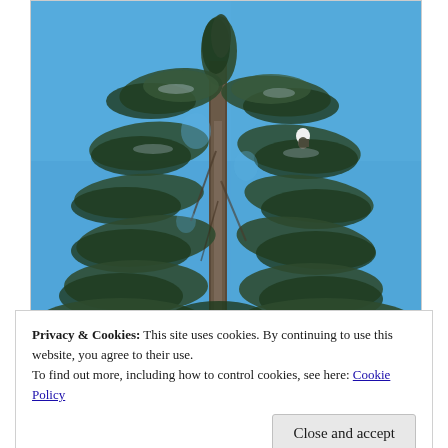[Figure (photo): A tall conifer (spruce or fir) tree photographed against a bright blue sky. The tree trunk is prominent in the center with many branches extending outward. A bird (possibly a bald eagle) is visible perched in the upper right portion of the tree.]
Privacy & Cookies: This site uses cookies. By continuing to use this website, you agree to their use.
To find out more, including how to control cookies, see here: Cookie Policy
Close and accept